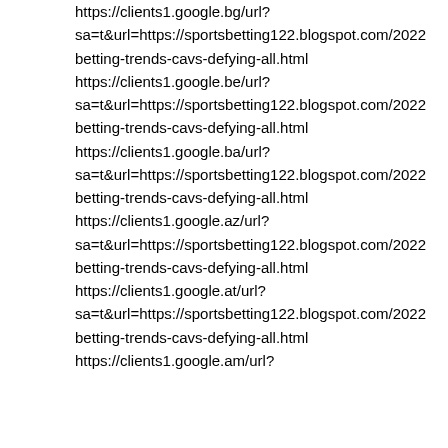https://clients1.google.bg/url?sa=t&url=https://sportsbetting122.blogspot.com/2022betting-trends-cavs-defying-all.html https://clients1.google.be/url?sa=t&url=https://sportsbetting122.blogspot.com/2022betting-trends-cavs-defying-all.html https://clients1.google.ba/url?sa=t&url=https://sportsbetting122.blogspot.com/2022betting-trends-cavs-defying-all.html https://clients1.google.az/url?sa=t&url=https://sportsbetting122.blogspot.com/2022betting-trends-cavs-defying-all.html https://clients1.google.at/url?sa=t&url=https://sportsbetting122.blogspot.com/2022betting-trends-cavs-defying-all.html https://clients1.google.am/url?